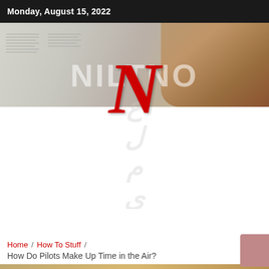Monday, August 15, 2022
[Figure (photo): Newspaper pages spread out with a croissant on top, forming the background banner of a news website. A large red italic 'N' logo is overlaid with white watermark text reading 'NILTHOTT' or similar brand name in large letters.]
Home / How To Stuff /
How Do Pilots Make Up Time in the Air?